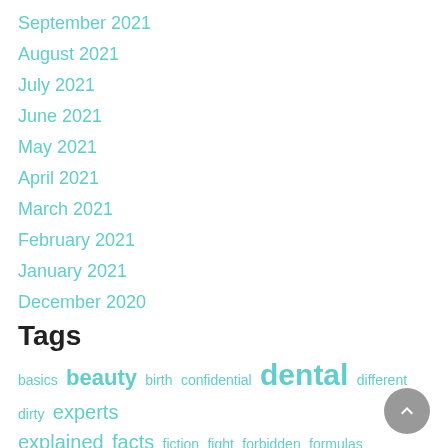September 2021
August 2021
July 2021
June 2021
May 2021
April 2021
March 2021
February 2021
January 2021
December 2020
Tags
basics beauty birth confidential dental different dirty experts explained facts fiction fight forbidden formulas fundamentals guide health healthy important